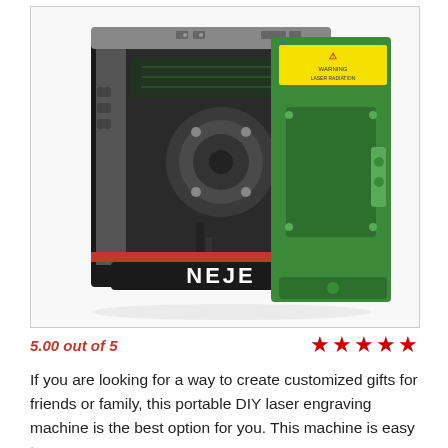[Figure (photo): Photo of a NEJE brand portable DIY laser engraving machine. The machine has a black metal frame with the NEJE logo on the front base. A green protective shield/panel is shown leaning against the right side of the machine. A yellow warning sticker is visible on the green panel. The machine's internal mechanics are visible through the open frame.]
5.00 out of 5
If you are looking for a way to create customized gifts for friends or family, this portable DIY laser engraving machine is the best option for you. This machine is easy to